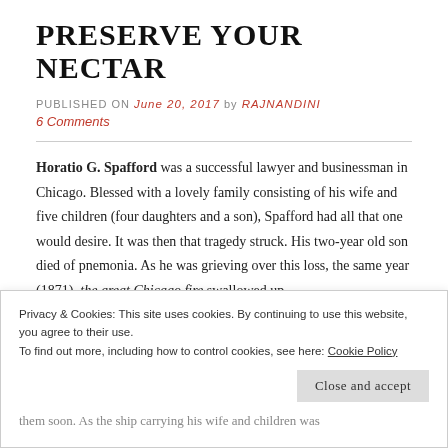PRESERVE YOUR NECTAR
PUBLISHED ON June 20, 2017 by RAJNANDINI
6 Comments
Horatio G. Spafford was a successful lawyer and businessman in Chicago. Blessed with a lovely family consisting of his wife and five children (four daughters and a son), Spafford had all that one would desire. It was then that tragedy struck. His two-year old son died of pnemonia. As he was grieving over this loss, the same year (1871), the great Chicago fire swallowed up
Privacy & Cookies: This site uses cookies. By continuing to use this website, you agree to their use.
To find out more, including how to control cookies, see here: Cookie Policy
Close and accept
them soon. As the ship carrying his wife and children was